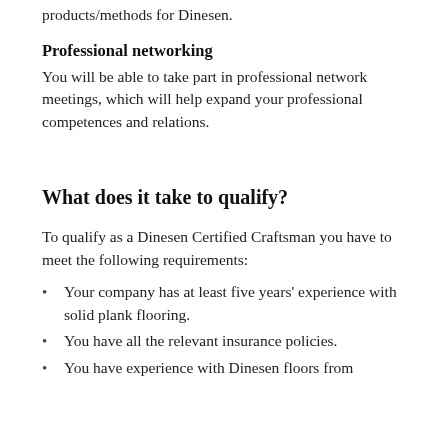products/methods for Dinesen.
Professional networking
You will be able to take part in professional network meetings, which will help expand your professional competences and relations.
What does it take to qualify?
To qualify as a Dinesen Certified Craftsman you have to meet the following requirements:
Your company has at least five years' experience with solid plank flooring.
You have all the relevant insurance policies.
You have experience with Dinesen floors from